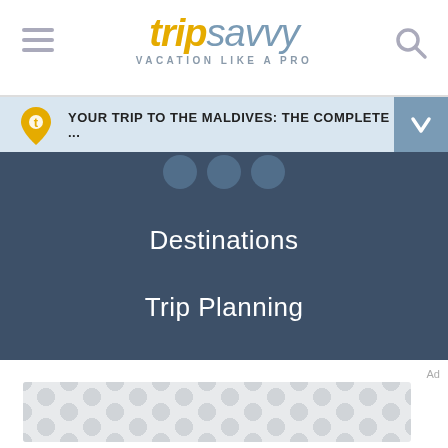[Figure (screenshot): TripSavvy website header with logo showing 'trip' in gold italic and 'savvy' in blue italic, tagline 'VACATION LIKE A PRO', hamburger menu icon on left, search icon on right]
YOUR TRIP TO THE MALDIVES: THE COMPLETE ...
Destinations
Trip Planning
Inspiration
Outdoors
News